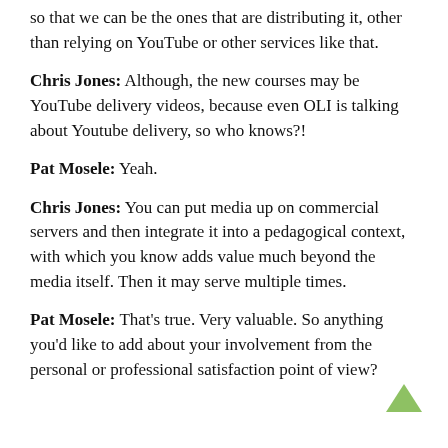so that we can be the ones that are distributing it, other than relying on YouTube or other services like that.
Chris Jones: Although, the new courses may be YouTube delivery videos, because even OLI is talking about Youtube delivery, so who knows?!
Pat Mosele: Yeah.
Chris Jones: You can put media up on commercial servers and then integrate it into a pedagogical context, with which you know adds value much beyond the media itself. Then it may serve multiple times.
Pat Mosele: That's true. Very valuable. So anything you'd like to add about your involvement from the personal or professional satisfaction point of view?